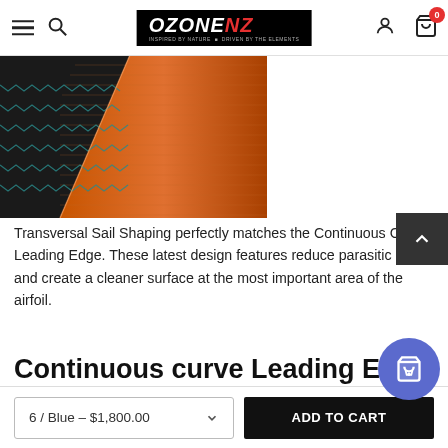Ozone NZ — navigation bar with hamburger menu, search, logo, account, and cart (0 items)
[Figure (photo): Close-up photo of a kite sail showing textured orange/red fabric with zig-zag stitching seams against a dark background]
Transversal Sail Shaping perfectly matches the Continuous Curve Leading Edge. These latest design features reduce parasitic drag and create a cleaner surface at the most important area of the airfoil.
Continuous curve Leading Edge
6 / Blue – $1,800.00
ADD TO CART